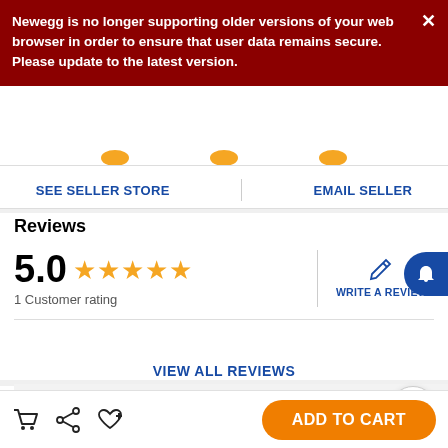Newegg is no longer supporting older versions of your web browser in order to ensure that user data remains secure. Please update to the latest version.
SEE SELLER STORE
EMAIL SELLER
Reviews
5.0 ★★★★★ 1 Customer rating
WRITE A REVIEW
VIEW ALL REVIEWS
Similar Products
ADD TO CART